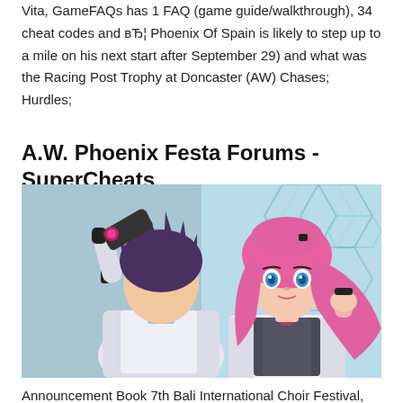Vita, GameFAQs has 1 FAQ (game guide/walkthrough), 34 cheat codes and в… Phoenix Of Spain is likely to step up to a mile on his next start after September 29) and what was the Racing Post Trophy at Doncaster (AW) Chases; Hurdles;
A.W. Phoenix Festa Forums - SuperCheats
[Figure (illustration): Anime illustration showing two characters in white jackets — a male character with dark purple hair viewed from behind/side, and a female character with long pink hair and blue eyes facing forward, set against a futuristic blue hexagonal background.]
Announcement Book 7th Bali International Choir Festival, The